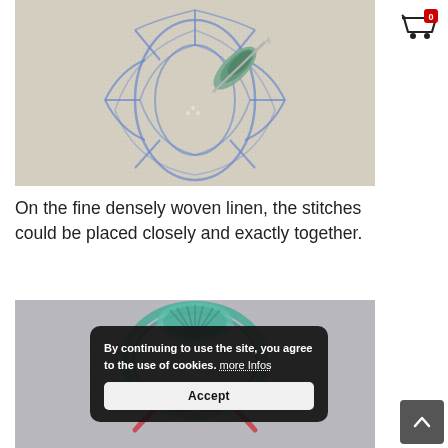[Figure (photo): Close-up photo of needlework/cross-stitch embroidery on fine densely woven linen canvas, showing blue decorative pattern with a needle and green thread]
On the fine densely woven linen, the stitches could be placed closely and exactly together.
[Figure (photo): Photo of an embroidered patch or medallion with teal/turquoise shell motif and red ribbon on grey fabric background, partially obscured by cookie consent dialog]
By continuing to use the site, you agree to the use of cookies. more Infos
Accept